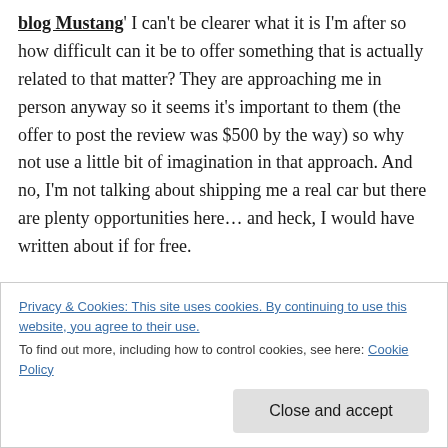blog Mustang' I can't be clearer what it is I'm after so how difficult can it be to offer something that is actually related to that matter? They are approaching me in person anyway so it seems it's important to them (the offer to post the review was $500 by the way) so why not use a little bit of imagination in that approach. And no, I'm not talking about shipping me a real car but there are plenty opportunities here… and heck, I would have written about if for free.
Use your imagination if you want to stand out. It really makes a difference you know.
Privacy & Cookies: This site uses cookies. By continuing to use this website, you agree to their use. To find out more, including how to control cookies, see here: Cookie Policy
Close and accept